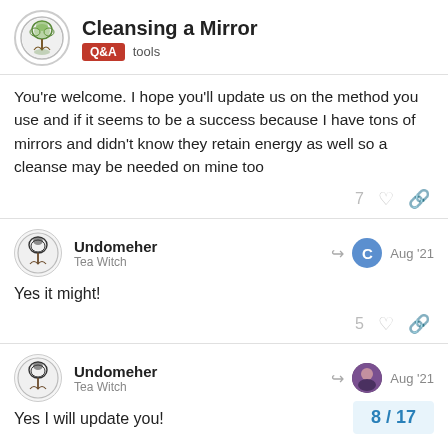Cleansing a Mirror | Q&A tools
You're welcome. I hope you'll update us on the method you use and if it seems to be a success because I have tons of mirrors and didn't know they retain energy as well so a cleanse may be needed on mine too
7 likes
Undomeher
Tea Witch
Aug '21
Yes it might!
5 likes
Undomeher
Tea Witch
Aug '21
Yes I will update you!
8 / 17